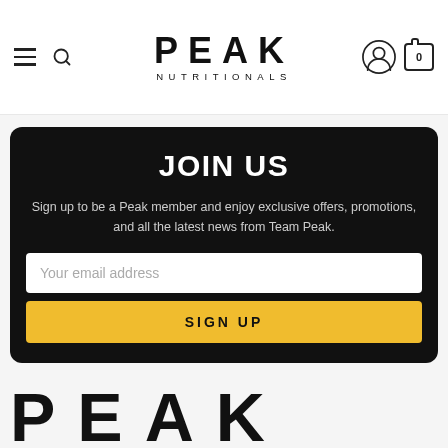PEAK NUTRITIONALS
JOIN US
Sign up to be a Peak member and enjoy exclusive offers, promotions, and all the latest news from Team Peak.
Your email address
SIGN UP
[Figure (logo): PEAK large footer logo text]